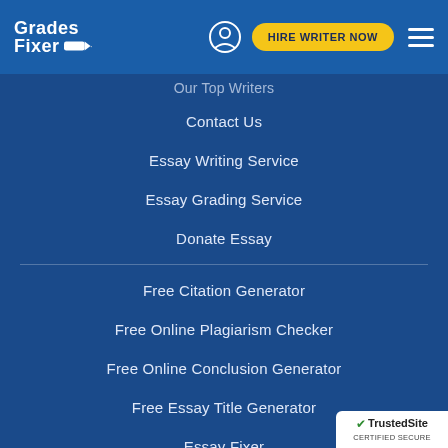Grades Fixer — HIRE WRITER NOW
Our Top Writers
Contact Us
Essay Writing Service
Essay Grading Service
Donate Essay
Free Citation Generator
Free Online Plagiarism Checker
Free Online Conclusion Generator
Free Essay Title Generator
Essay Fixer
Blog
[Figure (logo): TrustedSite Certified Secure badge]